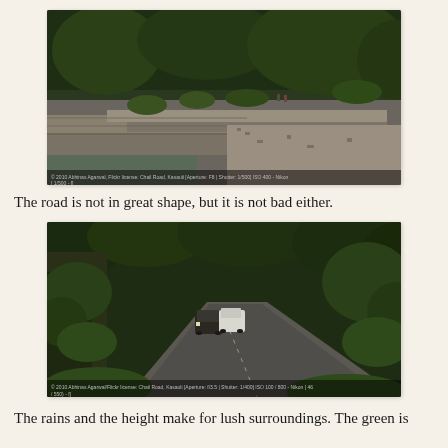[Figure (photo): A winding road with stone retaining walls and terraced sections, lush green forest in the background, small figures visible on the road]
The road is not in great shape, but it is not bad either.
[Figure (photo): Two vehicles driving on a narrow road through dense green forest/jungle, lush vegetation on both sides]
The rains and the height make for lush surroundings. The green is